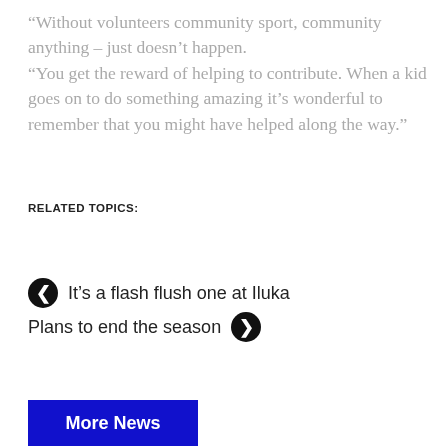“Without volunteers community sport, community anything – just doesn’t happen. “You get the reward of helping to contribute. When a kid goes on to do something amazing it’s wonderful to remember that you might have helped along the way.”
RELATED TOPICS:
It’s a flash flush one at Iluka
Plans to end the season
More News